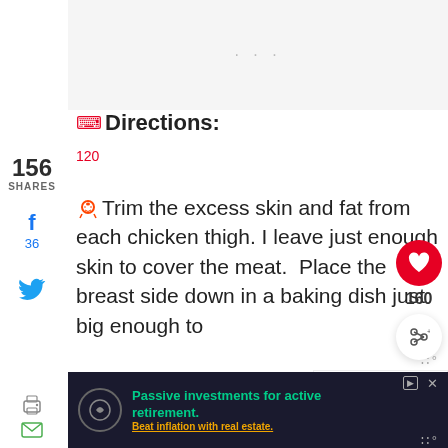[Figure (other): Ad placeholder area at top]
156
SHARES
f
36
Twitter bird icon
Directions:
120
Trim the excess skin and fat from each chicken thigh. I leave just enough skin to cover the meat.  Place the breast side down in a baking dish just big enough to accommodate them. the
[Figure (other): Floating heart button with count 160 and share button]
[Figure (other): What's Next box: Chili Honey Chicken...]
[Figure (other): Advertisement banner: Passive investments for active retirement. Beat inflation with real estate.]